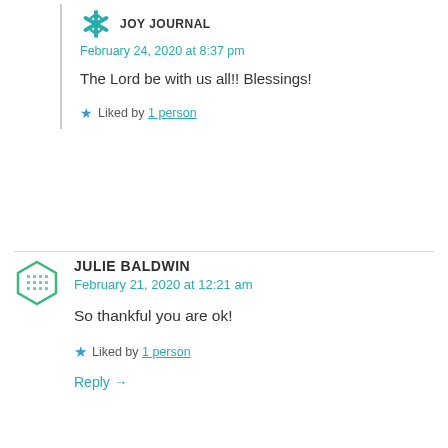JOY JOURNAL
February 24, 2020 at 8:37 pm
The Lord be with us all!! Blessings!
Liked by 1 person
JULIE BALDWIN
February 21, 2020 at 12:21 am
So thankful you are ok!
Liked by 1 person
Reply →